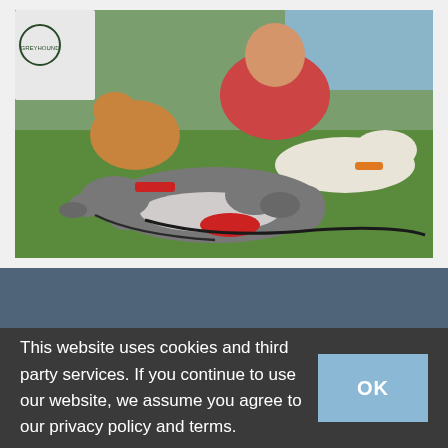[Figure (photo): Photograph of multiple dogs resting on grass at an outdoor event. A person in a pink/red shirt is visible in the background. Dogs include a tan/brown dog standing, two grey and white greyhounds lying down with red collars, and a white greyhound lying down with an orange collar. There is a banner/sign visible in the upper left corner.]
This website uses cookies and third party services. If you continue to use our website, we assume you agree to our privacy policy and terms.